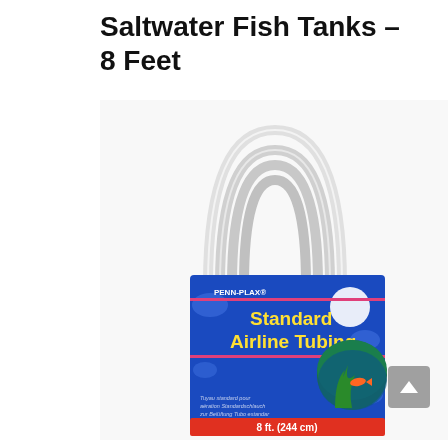Saltwater Fish Tanks – 8 Feet
[Figure (photo): Penn-Plax Standard Airline Tubing product in blue packaging. The clear plastic tubing forms a loop handle at the top. The blue box label reads 'PENN-PLAX Standard Airline Tubing' in yellow letters, with a circular image of fish in an aquarium. Text on the box in multiple languages and '8 ft. (244 cm)' at the bottom in a red/orange band.]